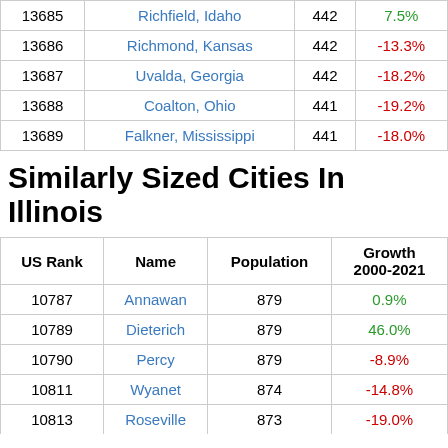| US Rank | Name | Population | Growth 2000-2021 |
| --- | --- | --- | --- |
| 13685 | Richfield, Idaho | 442 | 7.5% |
| 13686 | Richmond, Kansas | 442 | -13.3% |
| 13687 | Uvalda, Georgia | 442 | -18.2% |
| 13688 | Coalton, Ohio | 441 | -19.2% |
| 13689 | Falkner, Mississippi | 441 | -18.0% |
Similarly Sized Cities In Illinois
| US Rank | Name | Population | Growth 2000-2021 |
| --- | --- | --- | --- |
| 10787 | Annawan | 879 | 0.9% |
| 10789 | Dieterich | 879 | 46.0% |
| 10790 | Percy | 879 | -8.9% |
| 10811 | Wyanet | 874 | -14.8% |
| 10813 | Roseville | 873 | -19.0% |